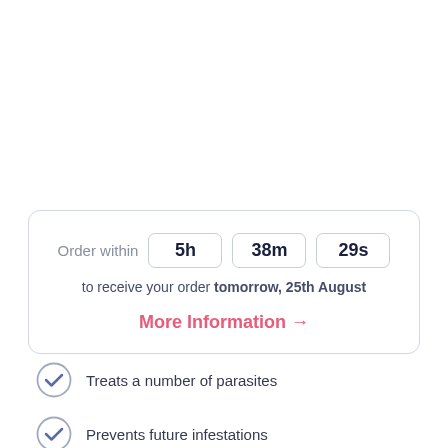Order within 5h 38m 29s to receive your order tomorrow, 25th August
More Information →
Treats a number of parasites
Prevents future infestations